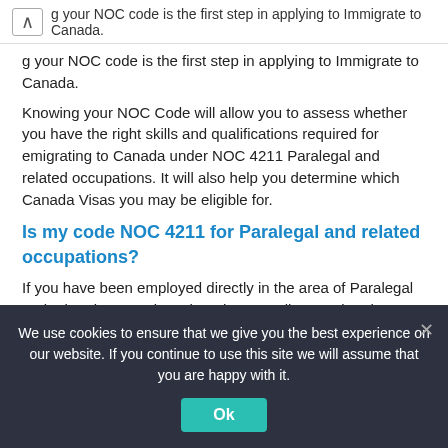↑ g your NOC code is the first step in applying to Immigrate to Canada.
Knowing your NOC Code will allow you to assess whether you have the right skills and qualifications required for emigrating to Canada under NOC 4211 Paralegal and related occupations. It will also help you determine which Canada Visas you may be eligible for.
Is my code NOC 4211 for Paralegal and related occupations?
If you have been employed directly in the area of Paralegal and related occupations then the Canadian Immigration code will be NOC 4211.
If you are looking at immigrating to Canada with NOC 4211 your job will likely fall under the broad category of Paralegal and related occupations and the following job description will
We use cookies to ensure that we give you the best experience on our website. If you continue to use this site we will assume that you are happy with it.